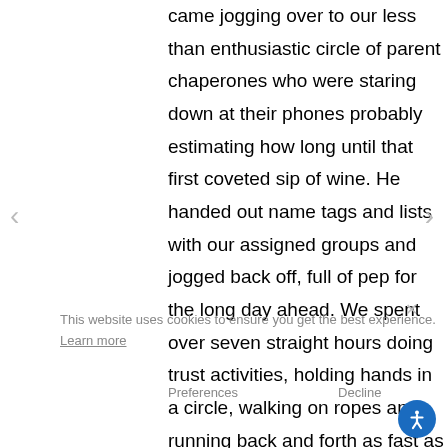came jogging over to our less than enthusiastic circle of parent chaperones who were staring down at their phones probably estimating how long until that first coveted sip of wine. He handed out name tags and lists with our assigned groups and jogged back off, full of pep for the long day ahead. We spent over seven straight hours doing trust activities, holding hands in a circle, walking on ropes and running back and forth as fast as we could across a soaking wet field. The highlight was when he made me get on a low ropes course in front of the kids. Dude, I m here to encourage, shuttle kids to bathrooms and maybe help with first